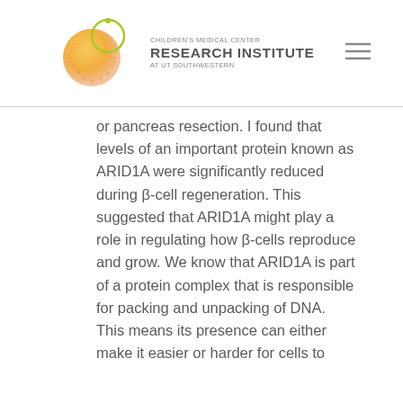Children's Medical Center Research Institute at UT Southwestern
or pancreas resection. I found that levels of an important protein known as ARID1A were significantly reduced during β-cell regeneration. This suggested that ARID1A might play a role in regulating how β-cells reproduce and grow. We know that ARID1A is part of a protein complex that is responsible for packing and unpacking of DNA. This means its presence can either make it easier or harder for cells to